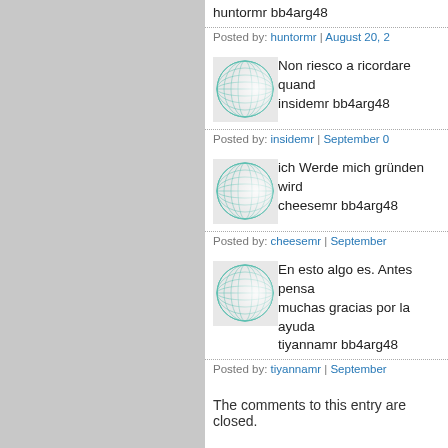huntormr bb4arg48
Posted by: huntormr | August 20, 2...
[Figure (illustration): User avatar: teal/green grid sphere pattern]
Non riesco a ricordare quand... insidemr bb4arg48
Posted by: insidemr | September 0...
[Figure (illustration): User avatar: teal/green grid sphere pattern]
ich Werde mich gründen wird... cheesemr bb4arg48
Posted by: cheesemr | September ...
[Figure (illustration): User avatar: teal/green grid sphere pattern]
En esto algo es. Antes pensa... muchas gracias por la ayuda... tiyannamr bb4arg48
Posted by: tiyannamr | September ...
The comments to this entry are closed.